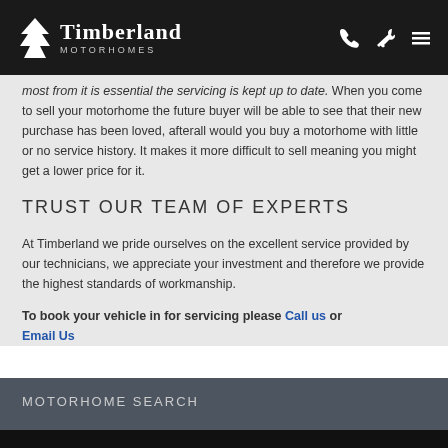Timberland Motorhomes
most from it is essential the servicing is kept up to date. When you come to sell your motorhome the future buyer will be able to see that their new purchase has been loved, afterall would you buy a motorhome with little or no service history. It makes it more difficult to sell meaning you might get a lower price for it.
TRUST OUR TEAM OF EXPERTS
At Timberland we pride ourselves on the excellent service provided by our technicians, we appreciate your investment and therefore we provide the highest standards of workmanship.
To book your vehicle in for servicing please Call us or Email Us
MOTORHOME SEARCH